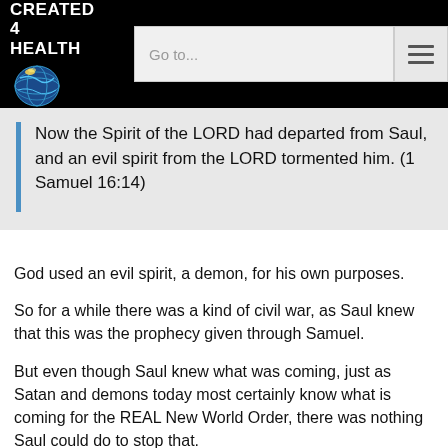CREATED 4 HEALTH — navigation header with logo and search bar
Now the Spirit of the LORD had departed from Saul, and an evil spirit from the LORD tormented him. (1 Samuel 16:14)
God used an evil spirit, a demon, for his own purposes.
So for a while there was a kind of civil war, as Saul knew that this was the prophecy given through Samuel.
But even though Saul knew what was coming, just as Satan and demons today most certainly know what is coming for the REAL New World Order, there was nothing Saul could do to stop that.
When David had a chance to kill Saul, he did not, because he knew that God was in control, and would turn the kingdom over to him in due time. From I Samuel chapter 24: